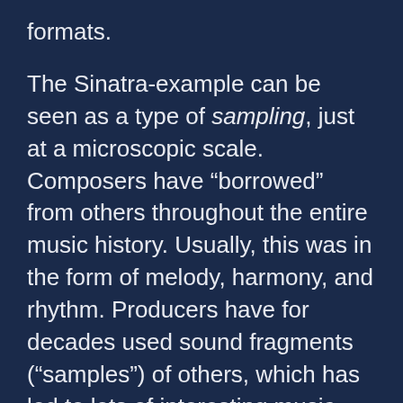formats.
The Sinatra-example can be seen as a type of sampling, just at a microscopic scale. Composers have “borrowed” from others throughout the entire music history. Usually, this was in the form of melody, harmony, and rhythm. Producers have for decades used sound fragments (“samples”) of others, which has led to lots of interesting music and several lawsuits. There are numerous challenges here, and we actually have two ongoing research projects at UiO that explore the usage of sampling and